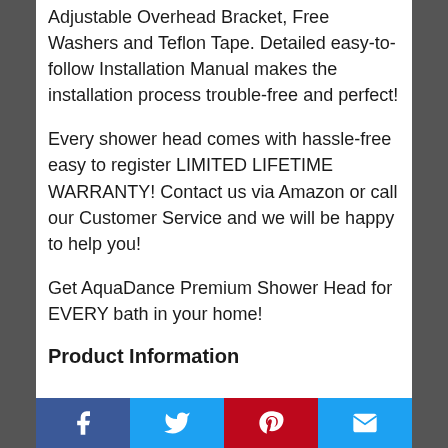Adjustable Overhead Bracket, Free Washers and Teflon Tape. Detailed easy-to-follow Installation Manual makes the installation process trouble-free and perfect!
Every shower head comes with hassle-free easy to register LIMITED LIFETIME WARRANTY! Contact us via Amazon or call our Customer Service and we will be happy to help you!
Get AquaDance Premium Shower Head for EVERY bath in your home!
Product Information